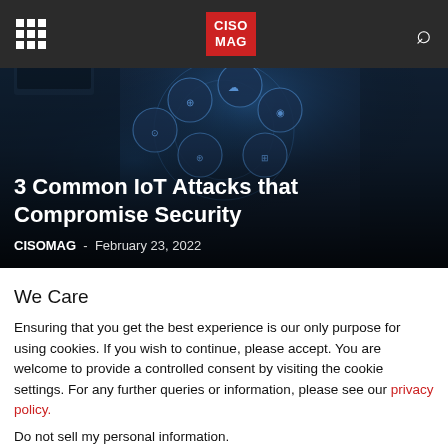CISO MAG navigation bar with grid menu icon, CISO MAG logo, and search icon
[Figure (photo): Hero image showing a hand holding a glowing sphere with IoT technology icons and circular tech overlays on a dark blue background, with text 'IoT' visible]
3 Common IoT Attacks that Compromise Security
CISOMAG  -  February 23, 2022
We Care
Ensuring that you get the best experience is our only purpose for using cookies. If you wish to continue, please accept. You are welcome to provide a controlled consent by visiting the cookie settings. For any further queries or information, please see our privacy policy.
Do not sell my personal information.
Cookie Settings | Accept